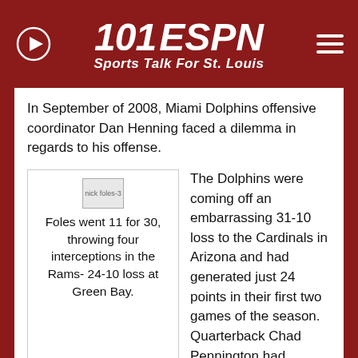[Figure (logo): 101 ESPN Sports Talk For St. Louis logo with play button and hamburger menu]
In September of 2008, Miami Dolphins offensive coordinator Dan Henning faced a dilemma in regards to his offense.
nick foles-3
Foles went 11 for 30, throwing four interceptions in the Rams- 24-10 loss at Green Bay.
The Dolphins were coming off an embarrassing 31-10 loss to the Cardinals in Arizona and had generated just 24 points in their first two games of the season. Quarterback Chad Pennington had struggled behind a shaky offensive line and suffered from limited options in the passing game.
Henning knew he needed a spark for his offense, so